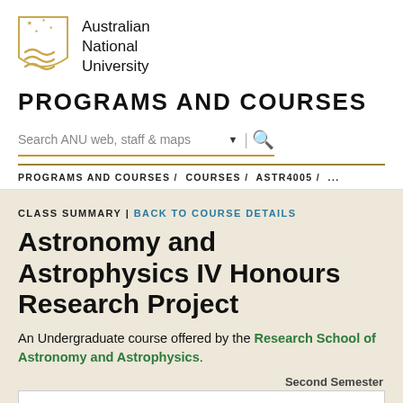[Figure (logo): Australian National University logo — gold shield with Southern Cross stars and wave lines]
Australian National University
PROGRAMS AND COURSES
Search ANU web, staff & maps
PROGRAMS AND COURSES / COURSES / ASTR4005 / ...
CLASS SUMMARY | BACK TO COURSE DETAILS
Astronomy and Astrophysics IV Honours Research Project
An Undergraduate course offered by the Research School of Astronomy and Astrophysics.
Second Semester